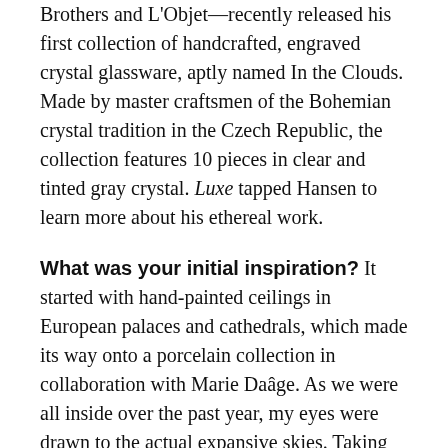Brothers and L'Objet—recently released his first collection of handcrafted, engraved crystal glassware, aptly named In the Clouds. Made by master craftsmen of the Bohemian crystal tradition in the Czech Republic, the collection features 10 pieces in clear and tinted gray crystal. Luxe tapped Hansen to learn more about his ethereal work.
What was your initial inspiration? It started with hand-painted ceilings in European palaces and cathedrals, which made its way onto a porcelain collection in collaboration with Marie Daâge. As we were all inside over the past year, my eyes were drawn to the actual expansive skies. Taking the cloud theme and working it onto crystal objects felt like the right step in the evolution of my exploration.
Talk to us about the process. After studying hand-